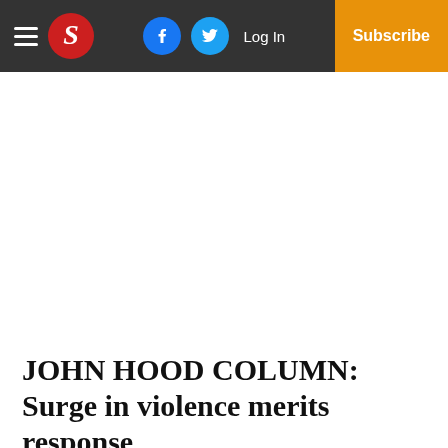S — Log In | Subscribe
JOHN HOOD COLUMN: Surge in violence merits response